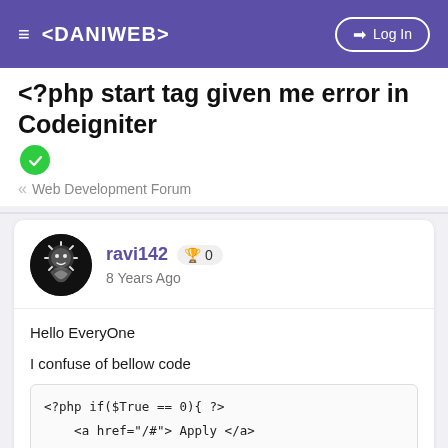≡ <DANIWEB> → Log In
<?php start tag given me error in Codeigniter [solved]
« Web Development Forum
ravi142 🏆 0
8 Years Ago
Hello EveryOne
I confuse of bellow code
<?php if($True == 0){ ?>
    <a href="/#"> Apply </a>
<?php}else{?>
    <a href="/#"> Aleary applied </a>
<?php }?>